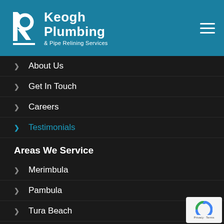[Figure (logo): Keogh Plumbing & Pipe Relining Services logo with stylized K/R icon on teal header background]
About Us
Get In Touch
Careers
Testimonials
Areas We Service
Merimbula
Pambula
Tura Beach
Eden